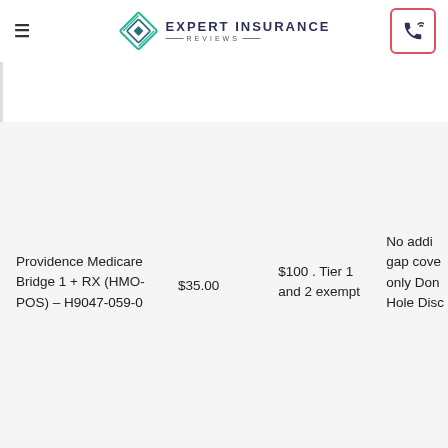Expert Insurance Reviews
| Plan | Premium | Drug Deductible | Gap Coverage |
| --- | --- | --- | --- |
| Providence Medicare Bridge 1 + RX (HMO-POS) – H9047-059-0 | $35.00 | $100 . Tier 1 and 2 exempt | No addi gap cove only Don Hole Disc |